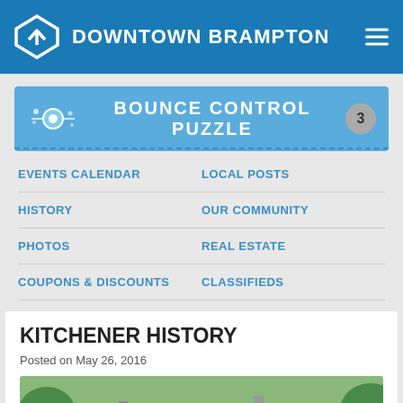DOWNTOWN BRAMPTON
[Figure (screenshot): Bounce Control Puzzle banner with circular icon on left and badge with number 3 on right]
EVENTS CALENDAR
LOCAL POSTS
HISTORY
OUR COMMUNITY
PHOTOS
REAL ESTATE
COUPONS & DISCOUNTS
CLASSIFIEDS
KITCHENER HISTORY
Posted on May 26, 2016
[Figure (photo): Exterior photo of a historic building with trees and a decorative blue and gold emblem/sign visible]